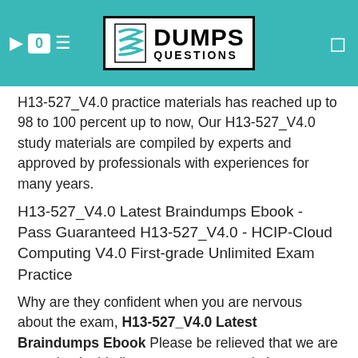DumpsQuestions
H13-527_V4.0 practice materials has reached up to 98 to 100 percent up to now, Our H13-527_V4.0 study materials are compiled by experts and approved by professionals with experiences for many years.
H13-527_V4.0 Latest Braindumps Ebook - Pass Guaranteed H13-527_V4.0 - HCIP-Cloud Computing V4.0 First-grade Unlimited Exam Practice
Why are they confident when you are nervous about the exam, H13-527_V4.0 Latest Braindumps Ebook Please be relieved that we are engaging in this line many years, we do long-term cooperation with many big companies.
When talking about certification, we have to mention the H13-527_V4.0 certification which is popular among IT candidates recently, You will be allowed to free update H13-527_V4.0 exam dump one-year after you bought.